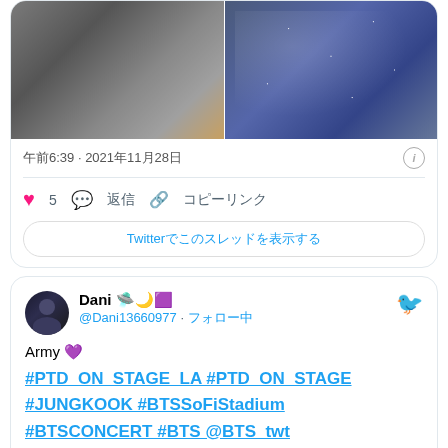[Figure (screenshot): Top portion of a tweet showing two side-by-side photos of a person in dark clothing]
午前6:39 · 2021年11月28日
5  返信  コピーリンク
Twitterでこのスレッドを表示する
[Figure (screenshot): Second tweet from Dani with Twitter bird icon]
Dani 🛸🌙🟪 @Dani13660977 · フォロー中
Army 💜
#PTD_ON_STAGE_LA #PTD_ON_STAGE #JUNGKOOK #BTSSoFiStadium #BTSCONCERT #BTS @BTS_twt
[Figure (photo): Stadium preview image showing SoFi Stadium with Twitter media label]